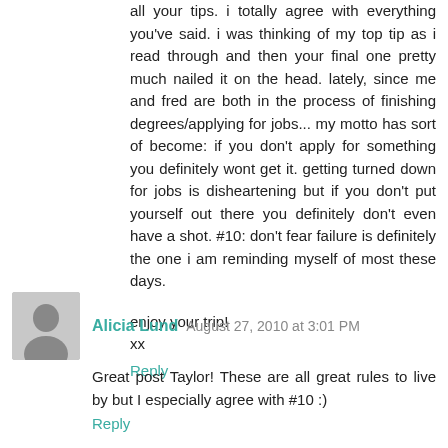all your tips. i totally agree with everything you've said. i was thinking of my top tip as i read through and then your final one pretty much nailed it on the head. lately, since me and fred are both in the process of finishing degrees/applying for jobs... my motto has sort of become: if you don't apply for something you definitely wont get it. getting turned down for jobs is disheartening but if you don't put yourself out there you definitely don't even have a shot. #10: don't fear failure is definitely the one i am reminding myself of most these days.
enjoy your trip!
xx
Reply
Alicia Lund August 27, 2010 at 3:01 PM
Great post Taylor! These are all great rules to live by but I especially agree with #10 :)
Reply